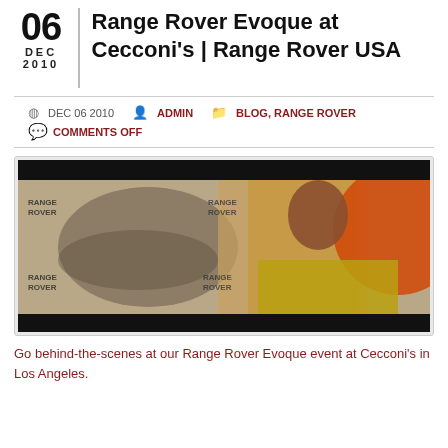Range Rover Evoque at Cecconi's | Range Rover USA
DEC 06 2010   ADMIN   BLOG, RANGE ROVER   COMMENTS OFF
[Figure (photo): Video thumbnail showing a woman at a Range Rover Evoque event at Cecconi's, with Range Rover branded backdrop and orange circle logo]
Go behind-the-scenes at our Range Rover Evoque event at Cecconi's in Los Angeles.